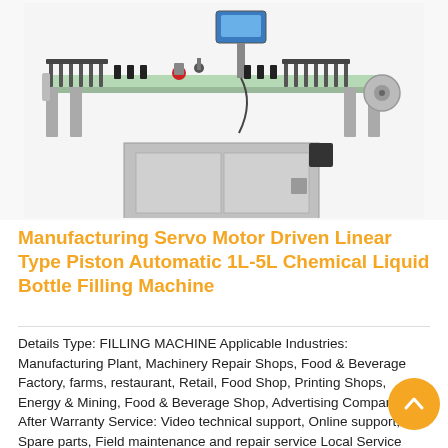[Figure (photo): Industrial linear labeling/filling machine with conveyor belt, stainless steel frame, control panel on top, black guide rails, and caster wheels at bottom. Machine appears to be a servo-motor driven linear type piston bottle filling machine.]
Manufacturing Servo Motor Driven Linear Type Piston Automatic 1L-5L Chemical Liquid Bottle Filling Machine
Details Type: FILLING MACHINE Applicable Industries: Manufacturing Plant, Machinery Repair Shops, Food & Beverage Factory, farms, restaurant, Retail, Food Shop, Printing Shops, Energy & Mining, Food & Beverage Shop, Advertising Company After Warranty Service: Video technical support, Online support, Spare parts, Field maintenance and repair service Local Service Location: United States Show room location United States Condition: